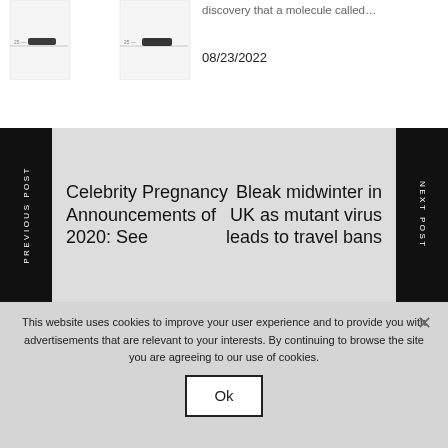[Figure (photo): Western blot images showing protein bands around 25kDa marker]
discovery that a molecule called…
08/23/2022
Celebrity Pregnancy Announcements of 2020: See
PREVIOUS POST
Bleak midwinter in UK as mutant virus leads to travel bans
NEXT POST
This website uses cookies to improve your user experience and to provide you with advertisements that are relevant to your interests. By continuing to browse the site you are agreeing to our use of cookies.